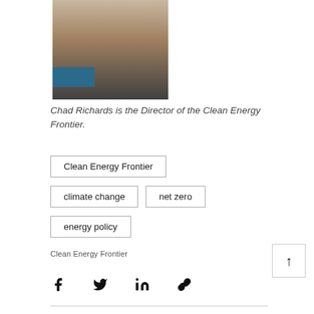[Figure (photo): Headshot photo of Chad Richards, a young man in a dark suit and patterned tie, smiling, with a blue badge/label partially visible at bottom left of the photo.]
Chad Richards is the Director of the Clean Energy Frontier.
Clean Energy Frontier
climate change
net zero
energy policy
Clean Energy Frontier
[Figure (other): Up arrow button (scroll to top)]
[Figure (other): Social share icons: Facebook, Twitter, LinkedIn, link/copy]